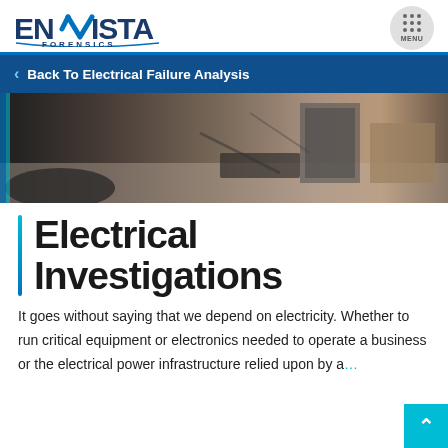[Figure (logo): Envista Forensics logo with blue text and checkmark V]
Back To Electrical Failure Analysis
[Figure (photo): Electrical equipment and components on a concrete floor in an industrial setting]
Electrical Investigations
It goes without saying that we depend on electricity. Whether to run critical equipment or electronics needed to operate a business or the electrical power infrastructure relied upon by a...